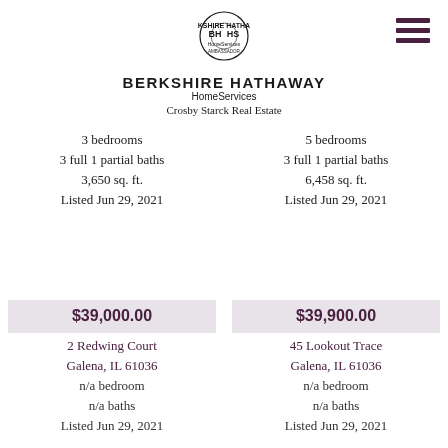[Figure (logo): Berkshire Hathaway HomeServices circular logo with BH HS initials]
BERKSHIRE HATHAWAY HomeServices Crosby Starck Real Estate
[Figure (illustration): Hamburger menu icon with three dark purple horizontal bars]
3 bedrooms
3 full 1 partial baths
3,650 sq. ft.
Listed Jun 29, 2021
5 bedrooms
3 full 1 partial baths
6,458 sq. ft.
Listed Jun 29, 2021
$39,000.00
2 Redwing Court
Galena, IL 61036
n/a bedroom
n/a baths
Listed Jun 29, 2021
$39,900.00
45 Lookout Trace
Galena, IL 61036
n/a bedroom
n/a baths
Listed Jun 29, 2021